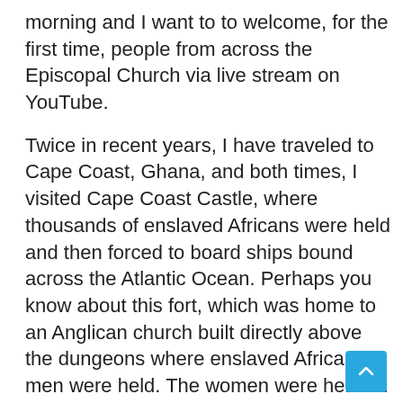morning and I want to to welcome, for the first time, people from across the Episcopal Church via live stream on YouTube.
Twice in recent years, I have traveled to Cape Coast, Ghana, and both times, I visited Cape Coast Castle, where thousands of enslaved Africans were held and then forced to board ships bound across the Atlantic Ocean. Perhaps you know about this fort, which was home to an Anglican church built directly above the dungeons where enslaved African men were held. The women were held on the other side of the fort, closer to the sleeping quarters of the white men who enslaved them.
At this moment in the United States, when people across the nation are rising up against racial injustice, police brutality and systemic racism, we must not turn away from this deeply painful history,